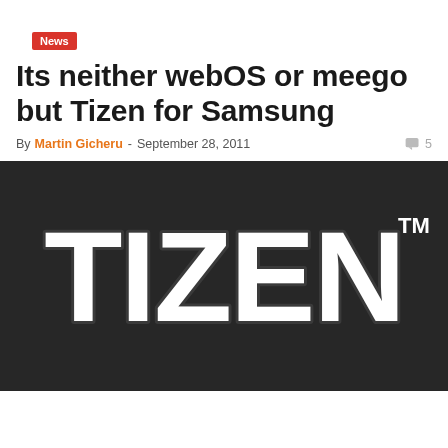News
Its neither webOS or meego but Tizen for Samsung
By Martin Gicheru - September 28, 2011   5
[Figure (logo): Tizen logo in white rounded text on dark background with TM superscript]